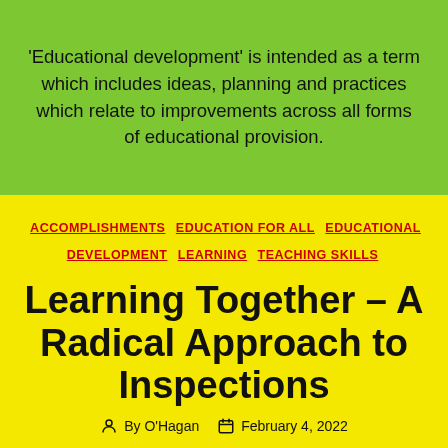'Educational development' is intended as a term which includes ideas, planning and practices which relate to improvements across all forms of educational provision.
ACCOMPLISHMENTS   EDUCATION FOR ALL   EDUCATIONAL DEVELOPMENT   LEARNING   TEACHING SKILLS
Learning Together – A Radical Approach to Inspections
By O'Hagan   February 4, 2022